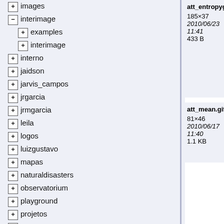+ images
- interimage
+ examples
+ interimage
+ interno
+ jaidson
+ jarvis_campos
+ jrgarcia
+ jrmgarcia
+ leila
+ logos
+ luizgustavo
+ mapas
+ naturaldisasters
+ observatorium
+ playground
+ projetos
+ qimg
+ rederisco
+ refgeo
+ reuniao
- sr000
att_entropyg...
185×37
2010/06/23
11:41
433 B
att_mean.gif
81×46
2010/06/17
11:40
1.1 KB